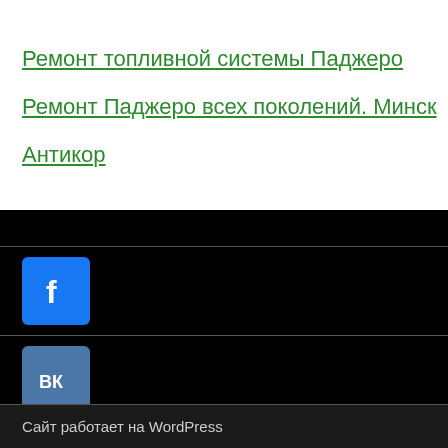Ремонт топливной системы Паджеро
Ремонт Паджеро всех поколений. Минск
Антикор
[Figure (logo): Facebook logo icon - blue square with white f letter]
[Figure (logo): VKontakte logo icon - blue square with white VK letters]
Сайт работает на WordPress